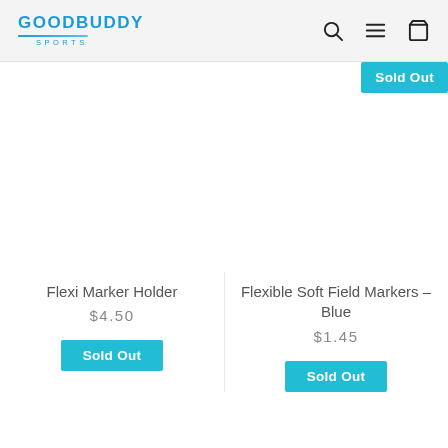[Figure (logo): GoodBuddy Sports logo with blue text and teal underline]
Flexible Soft Field Markers - Blue $1.45 Sold Out
Flexi Marker Holder $4.50 Sold Out